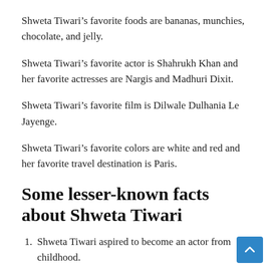Shweta Tiwari’s favorite foods are bananas, munchies, chocolate, and jelly.
Shweta Tiwari’s favorite actor is Shahrukh Khan and her favorite actresses are Nargis and Madhuri Dixit.
Shweta Tiwari’s favorite film is Dilwale Dulhania Le Jayenge.
Shweta Tiwari’s favorite colors are white and red and her favorite travel destination is Paris.
Some lesser-known facts about Shweta Tiwari
Shweta Tiwari aspired to become an actor from childhood.